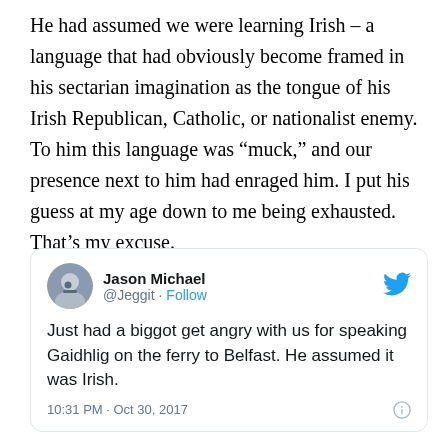He had assumed we were learning Irish – a language that had obviously become framed in his sectarian imagination as the tongue of his Irish Republican, Catholic, or nationalist enemy. To him this language was “muck,” and our presence next to him had enraged him. I put his guess at my age down to me being exhausted. That’s my excuse.
[Figure (screenshot): Screenshot of a tweet by Jason Michael (@Jeggit) with Follow link and Twitter bird logo. Tweet text: 'Just had a biggot get angry with us for speaking Gaidhlig on the ferry to Belfast. He assumed it was Irish.' Timestamp: 10:31 PM · Oct 30, 2017]